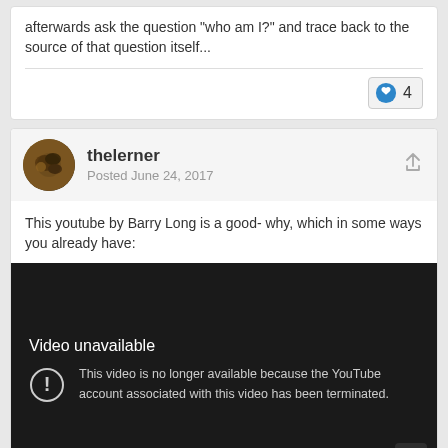afterwards ask the question "who am I?" and trace back to the source of that question itself...
[Figure (other): Like button with count 4]
thelerner
Posted June 24, 2017
This youtube by Barry Long is a good- why, which in some ways you already have:
[Figure (screenshot): Embedded YouTube video showing 'Video unavailable' error. Text reads: 'Video unavailable. This video is no longer available because the YouTube account associated with this video has been terminated.']